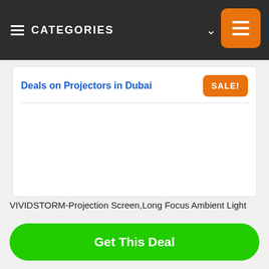≡ CATEGORIES ∨
Deals on Projectors in Dubai
SALE!
[Figure (other): Empty white content area for product image]
VIVIDSTORM-Projection Screen,Long Focus Ambient Light
Get This Deal